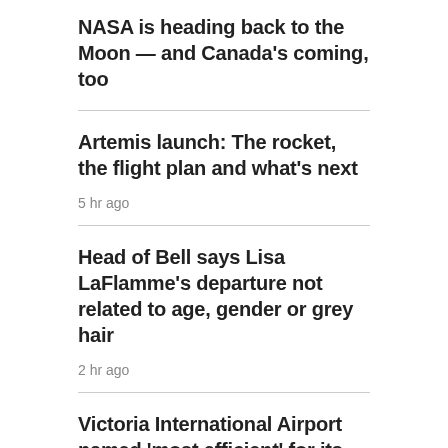NASA is heading back to the Moon — and Canada's coming, too
Artemis launch: The rocket, the flight plan and what's next
5 hr ago
Head of Bell says Lisa LaFlamme's departure not related to age, gender or grey hair
2 hr ago
Victoria International Airport named 'most efficient' for its size in North America
MOST READ